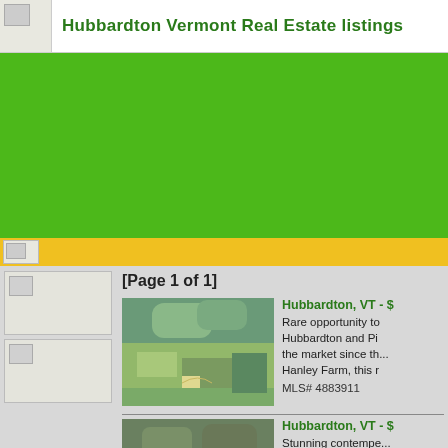Hubbardton Vermont Real Estate listings
[Figure (other): Green banner advertisement area]
[Page 1 of 1]
[Figure (photo): Aerial photo of Hubbardton VT farmland with rolling hills and forest]
Hubbardton, VT - $
Rare opportunity to... Hubbardton and Pi... the market since th... Hanley Farm, this r...
MLS# 4883911
[Figure (photo): Aerial photo of Hubbardton VT contemporary home surrounded by trees]
Hubbardton, VT - $
Stunning contempe... family. Unique feat... iron railings, mural... the views with...
MLS# 4913020  Bed...